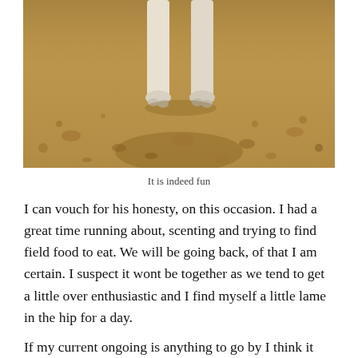[Figure (photo): A dog standing on sandy, rocky ground. Only the lower legs and paws of the dog are visible in the frame, with light-colored fur against a brown dirt and gravel background.]
It is indeed fun
I can vouch for his honesty, on this occasion. I had a great time running about, scenting and trying to find field food to eat. We will be going back, of that I am certain. I suspect it wont be together as we tend to get a little over enthusiastic and I find myself a little lame in the hip for a day.
If my current ongoing is anything to go by I think it